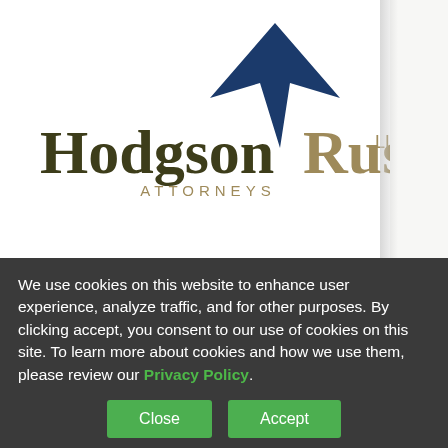[Figure (logo): Hodgson Russ LLP Attorneys logo with blue arrow/compass graphic above text]
WHY US
PROFESSIONALS
s change to th
ely have effects
project developer
change. For exam
Economy Institute
proceeding, chan
methodologies m
(E Value) that is u
the Value of Distr
tariff to compensa
community solar.
We use cookies on this website to enhance user experience, analyze traffic, and for other purposes. By clicking accept, you consent to our use of cookies on this site. To learn more about cookies and how we use them, please review our Privacy Policy.
Close
Accept